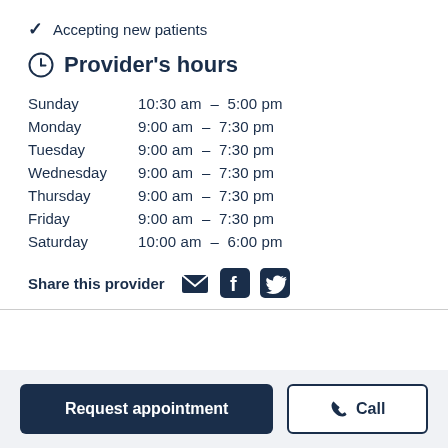✓ Accepting new patients
Provider's hours
| Day | Hours |
| --- | --- |
| Sunday | 10:30 am  -  5:00 pm |
| Monday | 9:00 am  -  7:30 pm |
| Tuesday | 9:00 am  -  7:30 pm |
| Wednesday | 9:00 am  -  7:30 pm |
| Thursday | 9:00 am  -  7:30 pm |
| Friday | 9:00 am  -  7:30 pm |
| Saturday | 10:00 am  -  6:00 pm |
Share this provider
Request appointment
Call